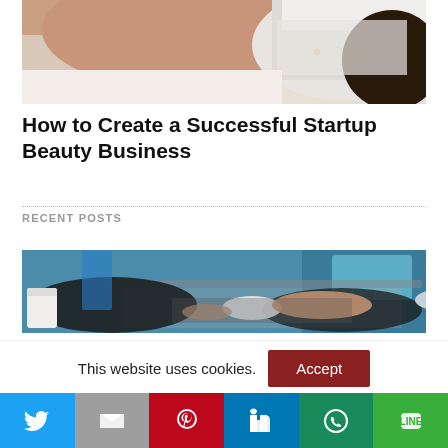[Figure (photo): Woman lying down with a white face mask and white headband, spa beauty treatment photo]
How to Create a Successful Startup Beauty Business
RECENT POSTS
[Figure (photo): Business person in suit typing on a laptop, blue-tinted background]
This website uses cookies.
Accept